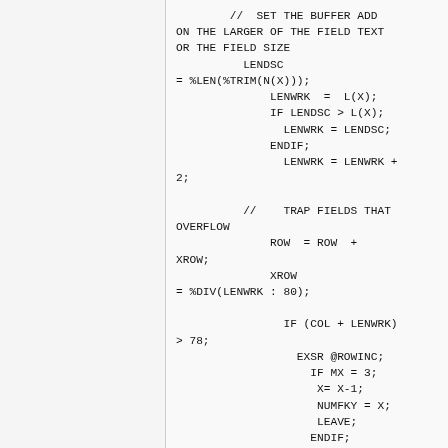//  SET THE BUFFER ADD ON THE LARGER OF THE FIELD TEXT OR THE FIELD SIZE
        LENDSC
= %LEN(%TRIM(N(X)));
              LENWRK  =  L(X);
              IF LENDSC > L(X);
                LENWRK = LENDSC;
              ENDIF;
                LENWRK = LENWRK + 2;

          //    TRAP FIELDS THAT OVERFLOW
              ROW  = ROW  + XROW;
              XROW
= %DIV(LENWRK : 80);

                IF (COL + LENWRK) > 78;
                  EXSR @ROWINC;
                    IF MX = 3;
                     X= X-1;
                     NUMFKY = X;
                     LEAVE;
                    ENDIF;
                  COL = 1;
                ENDIF;

          // INC COL. FOR FIELD